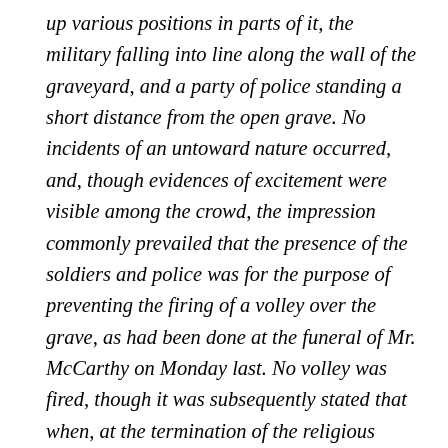up various positions in parts of it, the military falling into line along the wall of the graveyard, and a party of police standing a short distance from the open grave. No incidents of an untoward nature occurred, and, though evidences of excitement were visible among the crowd, the impression commonly prevailed that the presence of the soldiers and police was for the purpose of preventing the firing of a volley over the grave, as had been done at the funeral of Mr. McCarthy on Monday last. No volley was fired, though it was subsequently stated that when, at the termination of the religious ceremony at the  graveside, the military and the police had returned to Templemore, a party of Volunteers fired a volley over the grave. The prayers at the graveside were